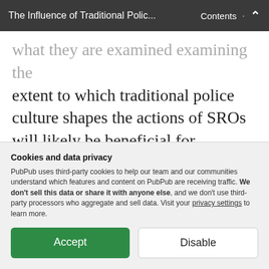The Influence of Traditional Polic... · Contents ∧
...what they are examined examining the extent to which traditional police culture shapes the actions of SROs will likely be beneficial for understanding this common critique of SROs.
The purpose of the current study is to provide an in-depth analysis of the activities of SROs and how elements of
Cookies and data privacy
PubPub uses third-party cookies to help our team and our communities understand which features and content on PubPub are receiving traffic. We don't sell this data or share it with anyone else, and we don't use third-party processors who aggregate and sell data. Visit your privacy settings to learn more.